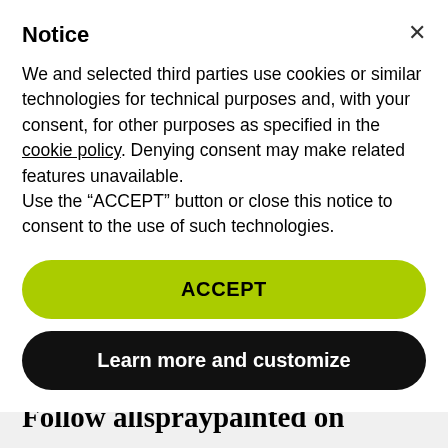Notice
We and selected third parties use cookies or similar technologies for technical purposes and, with your consent, for other purposes as specified in the cookie policy. Denying consent may make related features unavailable.
Use the “ACCEPT” button or close this notice to consent to the use of such technologies.
ACCEPT
Learn more and customize
Follow allspraypainted on